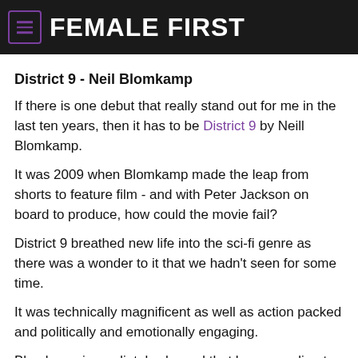FEMALE FIRST
District 9 - Neil Blomkamp
If there is one debut that really stand out for me in the last ten years, then it has to be District 9 by Neill Blomkamp.
It was 2009 when Blomkamp made the leap from shorts to feature film - and with Peter Jackson on board to produce, how could the movie fail?
District 9 breathed new life into the sci-fi genre as there was a wonder to it that we hadn't seen for some time.
It was technically magnificent as well as action packed and politically and emotionally engaging.
Blomkamp immediately showed that he was a director to get excited about; cementing that status last week with the release of his second movie Elysium.
Moon - Duncan Jones